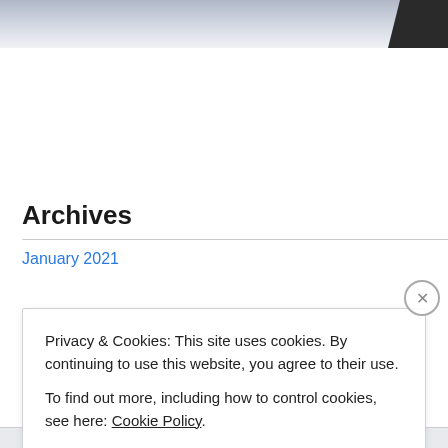[Figure (screenshot): Top navigation banner with grey gradient background and dark car image in top-right corner]
Archives
January 2021
Privacy & Cookies: This site uses cookies. By continuing to use this website, you agree to their use.
To find out more, including how to control cookies, see here: Cookie Policy.
Close and accept